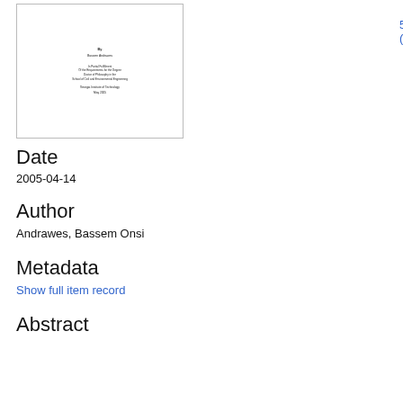[Figure (other): Thumbnail image of a PhD dissertation title page showing author name, fulfillment statement, School of Civil and Environmental Engineering, Georgia Institute of Technology, May 2005]
5_phd.pdf (22.89Mb)
Date
2005-04-14
Author
Andrawes, Bassem Onsi
Metadata
Show full item record
Abstract